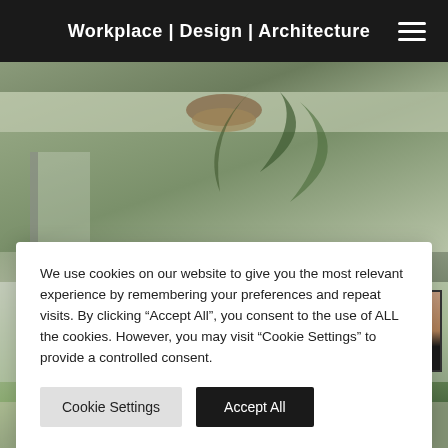Workplace | Design | Architecture
[Figure (photo): Top portion of interior design photo showing ceiling with pendant lamp and palm leaves]
We use cookies on our website to give you the most relevant experience by remembering your preferences and repeat visits. By clicking “Accept All”, you consent to the use of ALL the cookies. However, you may visit “Cookie Settings” to provide a controlled consent.
Cookie Settings   Accept All
[Figure (photo): Bottom portion of interior design photo showing indoor palm tree, framed portrait artwork on wall, and bright workspace]
Contact